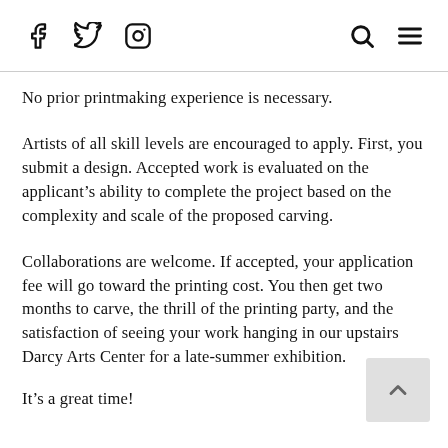Social media icons (Facebook, Twitter, Instagram) on left; Search and Menu icons on right
No prior printmaking experience is necessary.
Artists of all skill levels are encouraged to apply. First, you submit a design. Accepted work is evaluated on the applicant's ability to complete the project based on the complexity and scale of the proposed carving.
Collaborations are welcome. If accepted, your application fee will go toward the printing cost. You then get two months to carve, the thrill of the printing party, and the satisfaction of seeing your work hanging in our upstairs Darcy Arts Center for a late-summer exhibition.
It’s a great time!